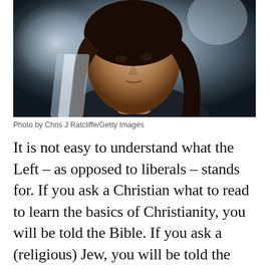[Figure (photo): Close-up photo of a young woman with long dark hair looking upward, dark jacket, blurred background with light reflections]
Photo by Chris J Ratcliffe/Getty Images
It is not easy to understand what the Left – as opposed to liberals – stands for. If you ask a Christian what to read to learn the basics of Christianity, you will be told the Bible. If you ask a (religious) Jew, you will be told the Hebrew Bible and the Talmud. If you ask a Mormon, you will be